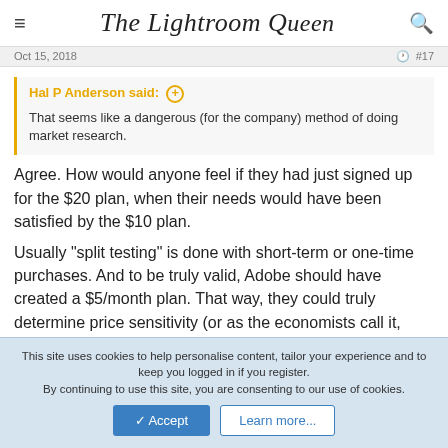The Lightroom Queen
Oct 15, 2018   #17
Hal P Anderson said: ⊕
That seems like a dangerous (for the company) method of doing market research.
Agree. How would anyone feel if they had just signed up for the $20 plan, when their needs would have been satisfied by the $10 plan.
Usually "split testing" is done with short-term or one-time purchases. And to be truly valid, Adobe should have created a $5/month plan. That way, they could truly determine price sensitivity (or as the economists call it, "price elasticity"). Maybe at $5/month, they could attract some of the "just say no to subscriptions" people.
This site uses cookies to help personalise content, tailor your experience and to keep you logged in if you register.
By continuing to use this site, you are consenting to our use of cookies.